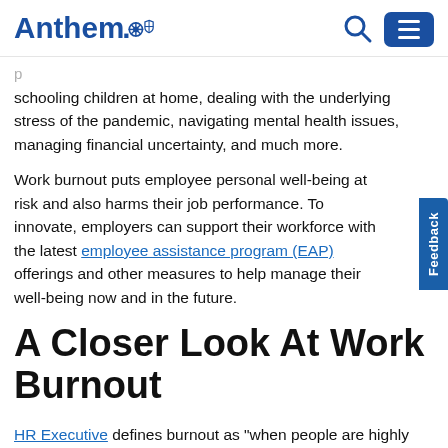Anthem [logo with shields]
schooling children at home, dealing with the underlying stress of the pandemic, navigating mental health issues, managing financial uncertainty, and much more.
Work burnout puts employee personal well-being at risk and also harms their job performance. To innovate, employers can support their workforce with the latest employee assistance program (EAP) offerings and other measures to help manage their well-being now and in the future.
A Closer Look At Work Burnout
HR Executive defines burnout as "when people are highly